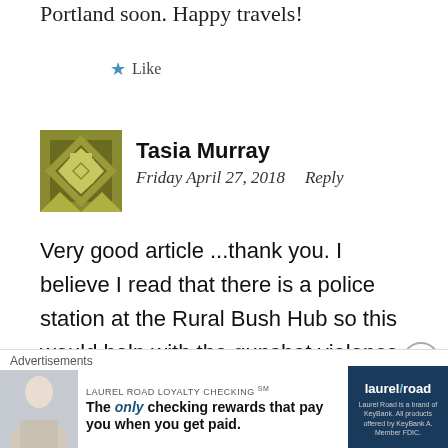Portland soon. Happy travels!
★ Like
Tasia Murray
Friday April 27, 2018   Reply
Very good article ...thank you. I believe I read that there is a police station at the Rural Bush Hub so this would help with the gunshot violence that you mentioned.
[Figure (other): Decorative geometric avatar for user Tasia Murray]
Advertisements
[Figure (photo): Advertisement: LAUREL ROAD LOYALTY CHECKING. The only checking rewards that pay you when you get paid. Laurel Road is a brand of KeyBank. Laurel/Road logo on dark blue background.]